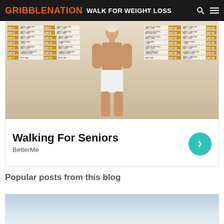GRIBBLENATION | HOW MUCH TO WALK FOR WEIGHT LOSS
[Figure (infographic): Walking fitness schedule with a fitness model in white shorts surrounded by a 28-day workout plan grid showing daily exercises]
Walking For Seniors
BetterMe
Popular posts from this blog
[Figure (photo): Sky with clouds, light blue tones]